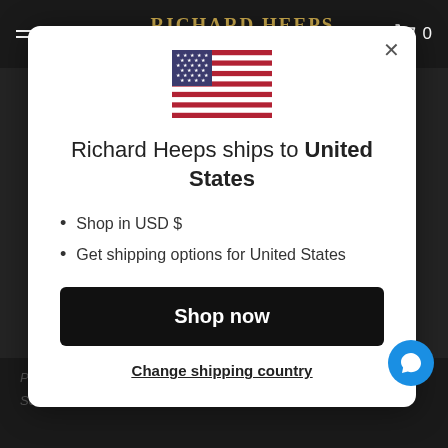≡ Menu | RICHARD HEEPS est. 1965 Cambridge, England | 🛒 0
[Figure (illustration): US flag inline SVG]
Richard Heeps ships to United States
Shop in USD $
Get shipping options for United States
Shop now
Change shipping country
Privacy Policy